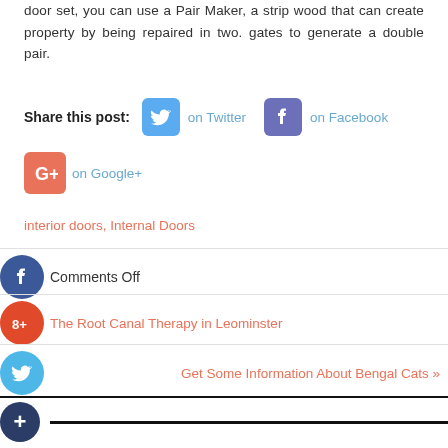door set, you can use a Pair Maker, a strip wood that can create property by being repaired in two. gates to generate a double pair.
Share this post: on Twitter on Facebook on Google+
interior doors, Internal Doors
Comments Off
The Root Canal Therapy in Leominster
Get Some Information About Bengal Cats »